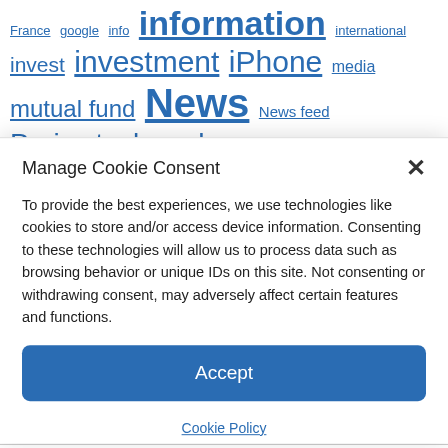[Figure (other): Tag cloud of finance/investment related keywords in various sizes, all shown as blue hyperlinks on white background. Tags include: France, google, info, information, international, invest, investment, iPhone, media, mutual fund, News, News feed, Paris stock exchange, placement, Politics, quotes, rate, retirement, SICAV, stock market, technology, Thread, trackers, training, Twitter, United St... (partially visible)]
Manage Cookie Consent
To provide the best experiences, we use technologies like cookies to store and/or access device information. Consenting to these technologies will allow us to process data such as browsing behavior or unique IDs on this site. Not consenting or withdrawing consent, may adversely affect certain features and functions.
Accept
Cookie Policy